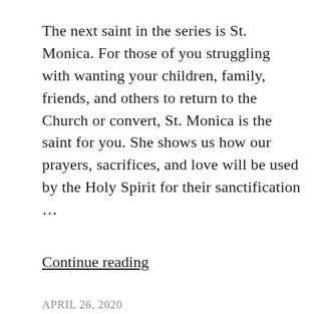The next saint in the series is St. Monica. For those of you struggling with wanting your children, family, friends, and others to return to the Church or convert, St. Monica is the saint for you. She shows us how our prayers, sacrifices, and love will be used by the Holy Spirit for their sanctification ...
Continue reading
APRIL 26, 2020